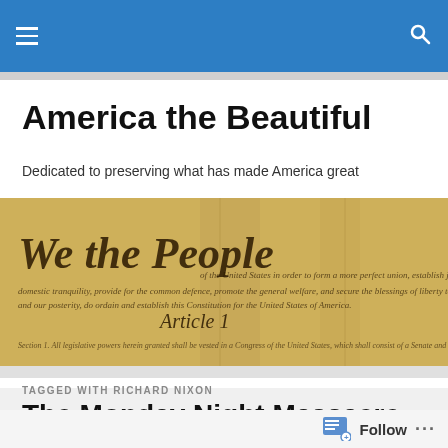America the Beautiful [navigation bar with hamburger menu and search icon]
America the Beautiful
Dedicated to preserving what has made America great
[Figure (photo): Photograph of the United States Constitution parchment showing 'We the People' header and Article 1 text in calligraphic script on aged yellowed paper]
TAGGED WITH RICHARD NIXON
The Monday Night Massacre That Wasn't
Follow ...